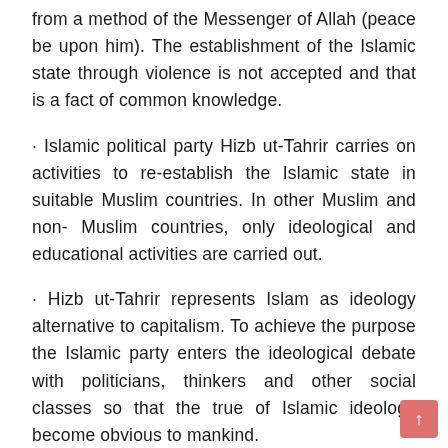from a method of the Messenger of Allah (peace be upon him). The establishment of the Islamic state through violence is not accepted and that is a fact of common knowledge.
· Islamic political party Hizb ut-Tahrir carries on activities to re-establish the Islamic state in suitable Muslim countries. In other Muslim and non- Muslim countries, only ideological and educational activities are carried out.
· Hizb ut-Tahrir represents Islam as ideology alternative to capitalism. To achieve the purpose the Islamic party enters the ideological debate with politicians, thinkers and other social classes so that the true of Islamic ideology become obvious to mankind.